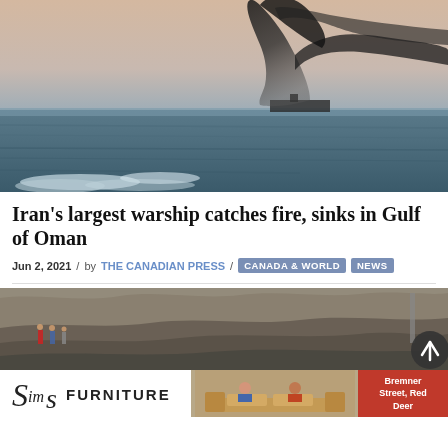[Figure (photo): Ship or vessel on fire in the Gulf of Oman, with large black smoke plume rising against a hazy sky, rough ocean waters in the foreground]
Iran's largest warship catches fire, sinks in Gulf of Oman
Jun 2, 2021 / by THE CANADIAN PRESS / CANADA & WORLD NEWS
[Figure (photo): People on rocky coastline, aerial or wide-angle view]
[Figure (photo): Advertisement banner: Sims Furniture - Bremner Street, Red Deer, showing two men sitting on a couch]